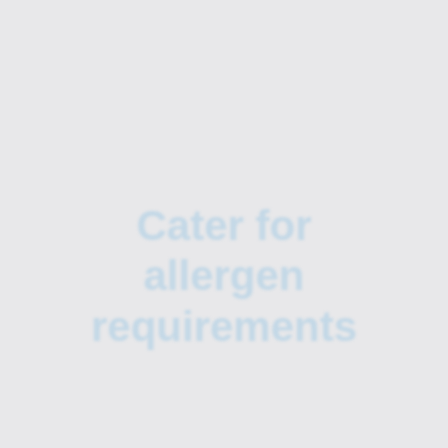Cater for allergen requirements